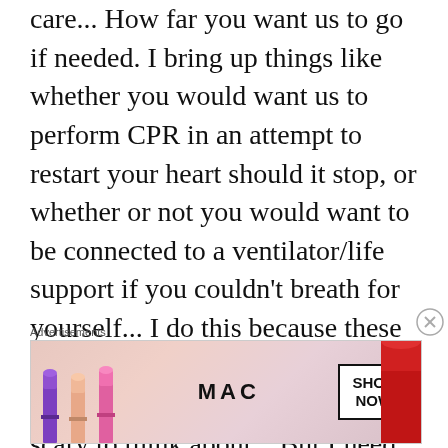care... How far you want us to go if needed. I bring up things like whether you would want us to perform CPR in an attempt to restart your heart should it stop, or whether or not you would want to be connected to a ventilator/life support if you couldn't breath for yourself... I do this because these are things that are potential realities for you... I know, it's scary to think about... But I need to know your wishes before an emergency situation. I'm not explaining the alternate options besides
Advertisements
[Figure (illustration): MAC cosmetics advertisement showing lipsticks in purple, pink, and red colors alongside the MAC logo and a 'SHOP NOW' button]